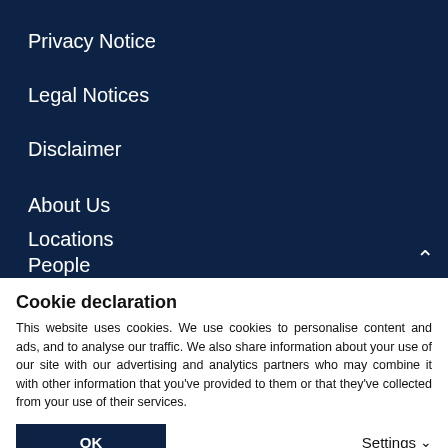Privacy Notice
Legal Notices
Disclaimer
About Us
Locations
People
Careers
Cookie declaration
This website uses cookies. We use cookies to personalise content and ads, and to analyse our traffic. We also share information about your use of our site with our advertising and analytics partners who may combine it with other information that you've provided to them or that they've collected from your use of their services.
OK
Settings